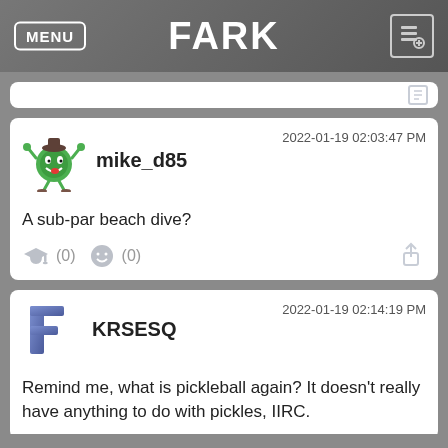FARK
mike_d85 — 2022-01-19 02:03:47 PM
A sub-par beach dive?
(0) (0)
KRSESQ — 2022-01-19 02:14:19 PM
Remind me, what is pickleball again? It doesn't really have anything to do with pickles, IIRC.